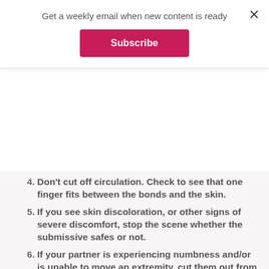Get a weekly email when new content is ready
Subscribe
Don't cut off circulation. Check to see that one finger fits between the bonds and the skin.
If you see skin discoloration, or other signs of severe discomfort, stop the scene whether the submissive safes or not.
If your partner is experiencing numbness and/or is unable to move an extremity, cut them out from the rope bondage immediately.
Don't put rope around the neck, ever.
Never leave a bound submissive alone.